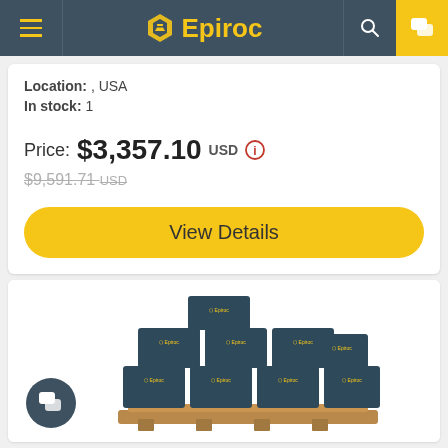Epiroc
Location: , USA
In stock: 1
Price: $3,357.10 USD
$9,591.71 USD (strikethrough)
View Details
[Figure (photo): Stack of Epiroc branded dark blue/teal product boxes piled on a wooden pallet]